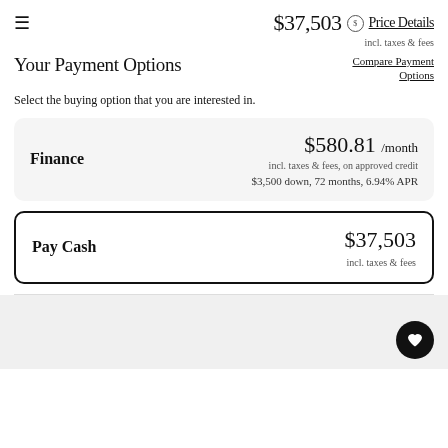$37,503 incl. taxes & fees — Price Details
Your Payment Options
Compare Payment Options
Select the buying option that you are interested in.
Finance — $580.81 /month incl. taxes & fees, on approved credit — $3,500 down, 72 months, 6.94% APR
Pay Cash — $37,503 incl. taxes & fees